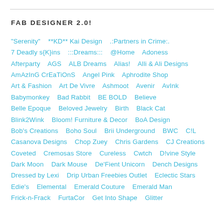FAB DESIGNER 2.0!
"Serenity"   **KD** Kai Design   .:Partners in Crime:.  7 Deadly s{K}ins   :::Dreams:::   @Home   Adoness  Afterparty   AGS   ALB Dreams   Alias!   Alli & Ali Designs  AmAzInG CrEaTiOnS   Angel Pink   Aphrodite Shop  Art & Fashion   Art De Vivre   Ashmoot   Avenir   AvInk  Babymonkey   Bad Rabbit   BE BOLD   Believe  Belle Epoque   Beloved Jewelry   Birth   Black Cat  Blink2Wink   Bloom! Furniture & Decor   BoA Design  Bob's Creations   Boho Soul   Brii Underground   BWC   C!L  Casanova Designs   Chop Zuey   Chris Gardens   CJ Creations  Coveted   Cremosas Store   Cureless   Cwtch   D!vine Style  Dark Moon   Dark Mouse   De'Fient Unicorn   Dench Designs  Dressed by Lexi   Drip Urban Freebies Outlet   Eclectic Stars  Edie's   Elemental   Emerald Couture   Emerald Man  Frick-n-Frack   FurtaCor   Get Into Shape   Glitter